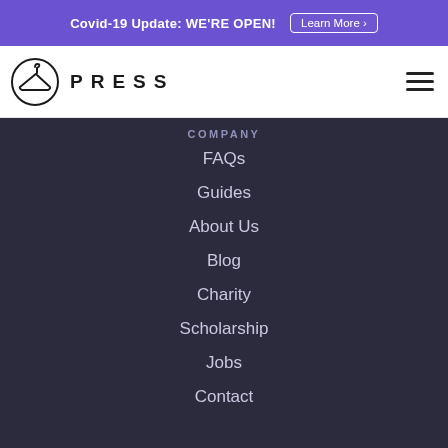Covid-19 Update: WE'RE OPEN!  Learn More ›
[Figure (logo): Press dry cleaning logo with hanger icon and PRESS text]
COMPANY
FAQs
Guides
About Us
Blog
Charity
Scholarship
Jobs
Contact